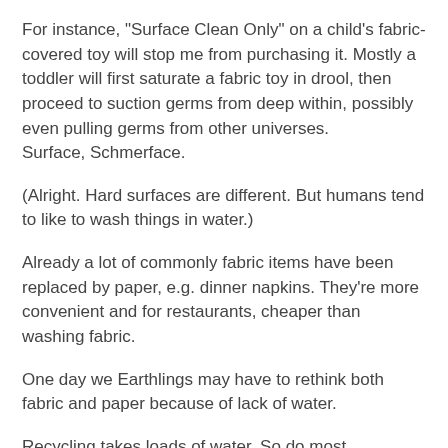For instance, "Surface Clean Only" on a child's fabric-covered toy will stop me from purchasing it. Mostly a toddler will first saturate a fabric toy in drool, then proceed to suction germs from deep within, possibly even pulling germs from other universes.
Surface, Schmerface.
(Alright. Hard surfaces are different. But humans tend to like to wash things in water.)
Already a lot of commonly fabric items have been replaced by paper, e.g. dinner napkins. They're more convenient and for restaurants, cheaper than washing fabric.
One day we Earthlings may have to rethink both fabric and paper because of lack of water.
Recycling takes loads of water. So do most manufacturing processes. What alternatives to paper and fabric, ones that don't require a lot of water to make, exist?
I wonder how much water is used to manufacture the Swiffer